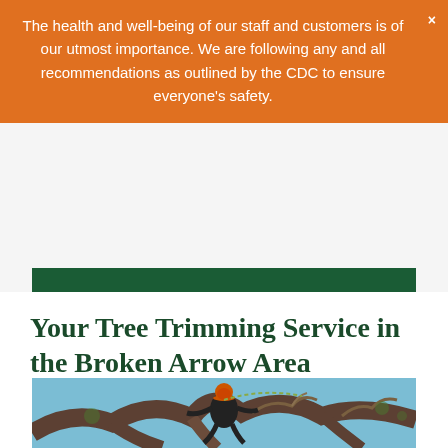The health and well-being of our staff and customers is of our utmost importance. We are following any and all recommendations as outlined by the CDC to ensure everyone's safety.
Your Tree Trimming Service in the Broken Arrow Area
[Figure (photo): A tree trimmer wearing an orange helmet and dark clothing, crouching on large tree branches against a blue sky background]